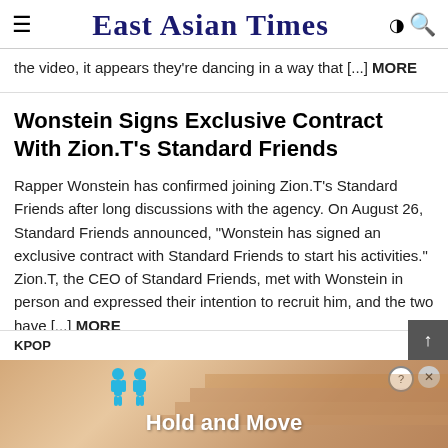East Asian Times
the video, it appears they're dancing in a way that [...] MORE
Wonstein Signs Exclusive Contract With Zion.T's Standard Friends
Rapper Wonstein has confirmed joining Zion.T's Standard Friends after long discussions with the agency. On August 26, Standard Friends announced, "Wonstein has signed an exclusive contract with Standard Friends to start his activities." Zion.T, the CEO of Standard Friends, met with Wonstein in person and expressed their intention to recruit him, and the two have [...] MORE
YOU MAY ALSO LIKE
[Figure (other): Advertisement banner showing 'Hold and Move' with cartoon figures, staircase background, close and info buttons]
KPOP